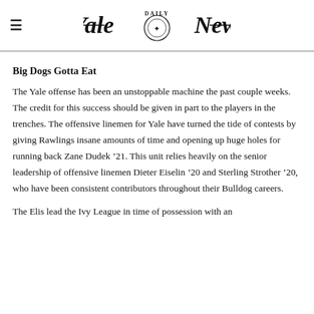Yale Daily News
Big Dogs Gotta Eat
The Yale offense has been an unstoppable machine the past couple weeks. The credit for this success should be given in part to the players in the trenches. The offensive linemen for Yale have turned the tide of contests by giving Rawlings insane amounts of time and opening up huge holes for running back Zane Dudek ’21. This unit relies heavily on the senior leadership of offensive linemen Dieter Eiselin ’20 and Sterling Strother ’20, who have been consistent contributors throughout their Bulldog careers.
The Elis lead the Ivy League in time of possession with an